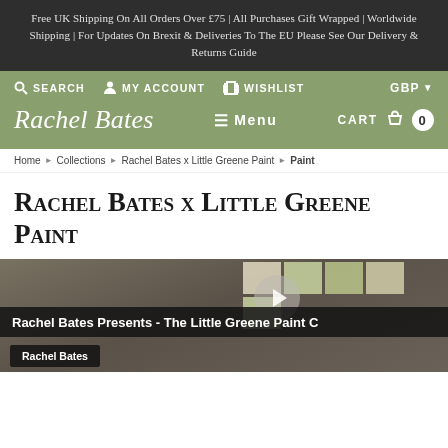Free UK Shipping On All Orders Over £75 | All Purchases Gift Wrapped | Worldwide Shipping | For Updates On Brexit & Deliveries To The EU Please See Our Delivery & Returns Guide
SEARCH  MY ACCOUNT  WISHLIST  GBP
Rachel Bates ≡ Menu  CART 0
Home › Collections › Rachel Bates x Little Greene Paint › Paint
Rachel Bates x Little Greene Paint
[Figure (screenshot): Video thumbnail showing 'Rachel Bates Presents - The Little Greene Paint C...' with a play button circle overlay and paint colour swatches visible. Below the title bar is a label reading 'Rachel Bates'.]